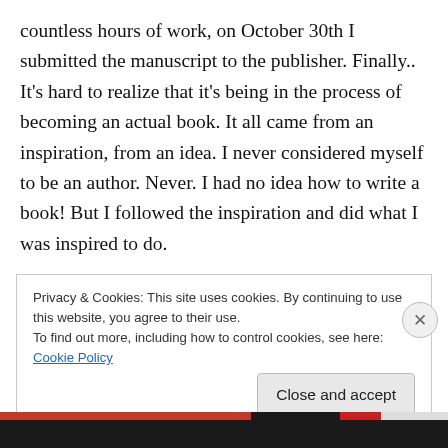countless hours of work, on October 30th I submitted the manuscript to the publisher. Finally.. It's hard to realize that it's being in the process of becoming an actual book. It all came from an inspiration, from an idea. I never considered myself to be an author. Never. I had no idea how to write a book! But I followed the inspiration and did what I was inspired to do.

This project was quite a test of faith and my faithfulness to the work I had to do. It was 7 years of hard relentless work not knowing how in the world I was going to publish it. I
Privacy & Cookies: This site uses cookies. By continuing to use this website, you agree to their use.
To find out more, including how to control cookies, see here: Cookie Policy
Close and accept